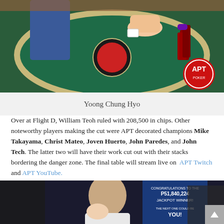[Figure (photo): Poker table with players, chips, and APT logo watermark visible in top right corner]
Yoong Chung Hyo
Over at Flight D, William Teoh ruled with 208,500 in chips. Other noteworthy players making the cut were APT decorated champions Mike Takayama, Christ Mateo, Joven Huerto, John Paredes, and John Tech. The latter two will have their work cut out with their stacks bordering the danger zone. The final table will stream live on APT Twitch and APT YouTube.
[Figure (photo): Player in white shirt at poker tournament venue with P51,840,224 jackpot winner sign in background]